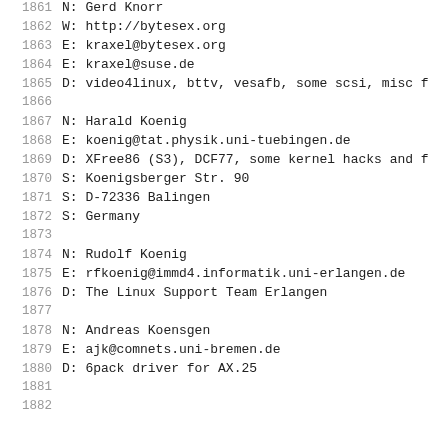1861   N: Gerd Knorr
1862   W: http://bytesex.org
1863   E: kraxel@bytesex.org
1864   E: kraxel@suse.de
1865   D: video4linux, bttv, vesafb, some scsi, misc f
1866
1867   N: Harald Koenig
1868   E: koenig@tat.physik.uni-tuebingen.de
1869   D: XFree86 (S3), DCF77, some kernel hacks and f
1870   S: Koenigsberger Str. 90
1871   S: D-72336 Balingen
1872   S: Germany
1873
1874   N: Rudolf Koenig
1875   E: rfkoenig@immd4.informatik.uni-erlangen.de
1876   D: The Linux Support Team Erlangen
1877
1878   N: Andreas Koensgen
1879   E: ajk@comnets.uni-bremen.de
1880   D: 6pack driver for AX.25
1881
1882   ...